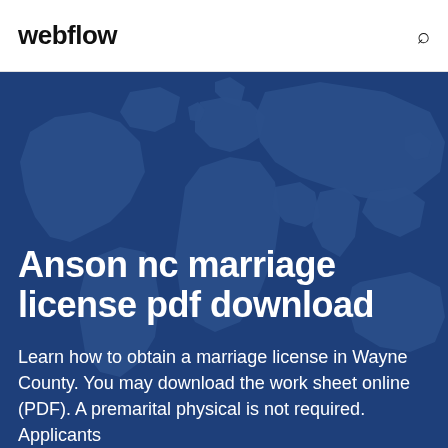webflow
[Figure (illustration): World map illustration with dark blue background and slightly lighter blue continent outlines]
Anson nc marriage license pdf download
Learn how to obtain a marriage license in Wayne County. You may download the work sheet online (PDF). A premarital physical is not required. Applicants